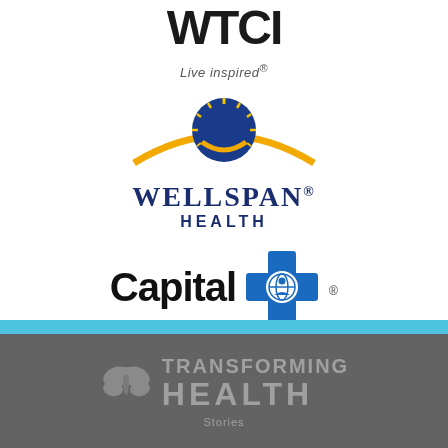[Figure (logo): WTCI Live inspired logo — bold black text 'WTCI' with italic tagline 'Live inspired®']
[Figure (logo): WellSpan Health logo — blue circular sunburst icon over a gold arc, with 'WELLSPAN® HEALTH' in navy blue serif text]
[Figure (logo): Capital Blue Cross logo — bold black 'Capital' text next to a blue cross with a globe/person icon and registered trademark]
[Figure (logo): Transforming Health logo on dark gray background — stylized butterfly icon in gray with 'TRANSFORMING HEALTH' text in gray uppercase letters]